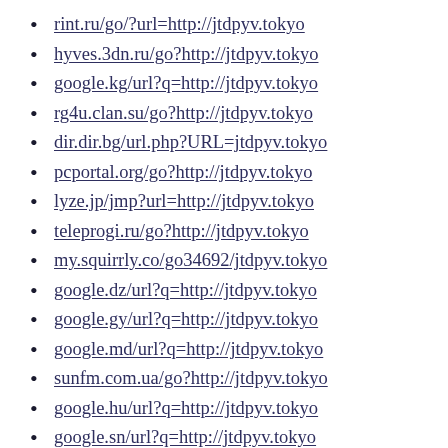rint.ru/go/?url=http://jtdpyv.tokyo
hyves.3dn.ru/go?http://jtdpyv.tokyo
google.kg/url?q=http://jtdpyv.tokyo
rg4u.clan.su/go?http://jtdpyv.tokyo
dir.dir.bg/url.php?URL=jtdpyv.tokyo
pcportal.org/go?http://jtdpyv.tokyo
lyze.jp/jmp?url=http://jtdpyv.tokyo
teleprogi.ru/go?http://jtdpyv.tokyo
my.squirrly.co/go34692/jtdpyv.tokyo
google.dz/url?q=http://jtdpyv.tokyo
google.gy/url?q=http://jtdpyv.tokyo
google.md/url?q=http://jtdpyv.tokyo
sunfm.com.ua/go?http://jtdpyv.tokyo
google.hu/url?q=http://jtdpyv.tokyo
google.sn/url?q=http://jtdpyv.tokyo
google.cv/url?q=http://jtdpyv.tokyo
google.st/url?q=http://jtdpyv.tokyo
google.cf/url?q=http://jtdpyv.tokyo
google.bi/url?q=http://jtdpyv.tokyo